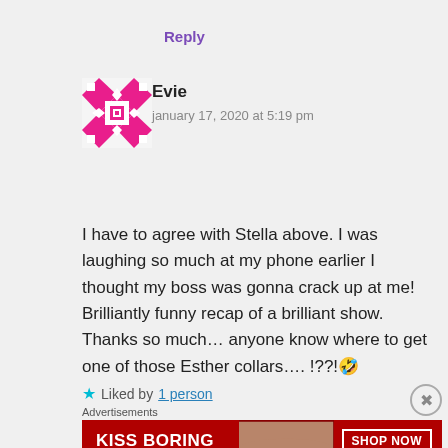Reply
[Figure (illustration): Pink and white geometric/mosaic avatar icon for user Evie]
Evie
january 17, 2020 at 5:19 pm
I have to agree with Stella above. I was laughing so much at my phone earlier I thought my boss was gonna crack up at me! Brilliantly funny recap of a brilliant show. Thanks so much… anyone know where to get one of those Esther collars…. !??!🤣
★ Liked by 1 person
Advertisements
[Figure (photo): Macy's advertisement banner: KISS BORING LIPS GOODBYE with red lipstick photo and SHOP NOW button with Macy's star logo]